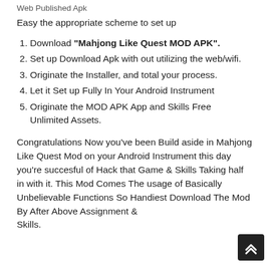Web Published Apk
Easy the appropriate scheme to set up
Download "Mahjong Like Quest MOD APK".
Set up Download Apk with out utilizing the web/wifi.
Originate the Installer, and total your process.
Let it Set up Fully In Your Android Instrument
Originate the MOD APK App and Skills Free Unlimited Assets.
Congratulations Now you've been Build aside in Mahjong Like Quest Mod on your Android Instrument this day you're succesful of Hack that Game & Skills Taking half in with it. This Mod Comes The usage of Basically Unbelievable Functions So Handiest Download The Mod By After Above Assignment & Skills.